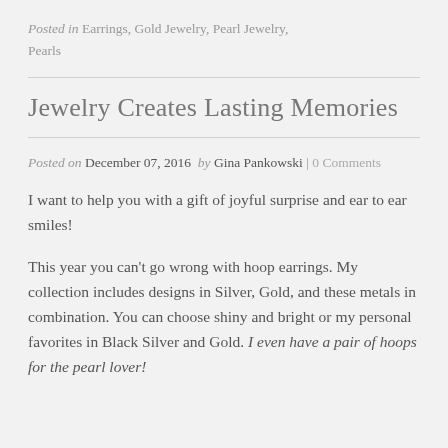Posted in Earrings, Gold Jewelry, Pearl Jewelry, Pearls
Jewelry Creates Lasting Memories
Posted on December 07, 2016 by Gina Pankowski | 0 Comments
I want to help you with a gift of joyful surprise and ear to ear smiles!
This year you can't go wrong with hoop earrings. My collection includes designs in Silver, Gold, and these metals in combination. You can choose shiny and bright or my personal favorites in Black Silver and Gold. I even have a pair of hoops for the pearl lover!